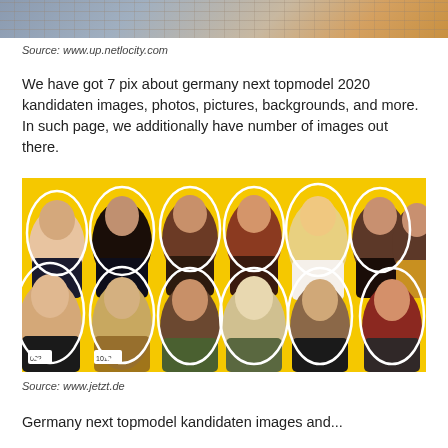[Figure (photo): Partial top crop of a person, appears to show someone with a yellow/mustard accessory against a brick background]
Source: www.up.netlocity.com
We have got 7 pix about germany next topmodel 2020 kandidaten images, photos, pictures, backgrounds, and more. In such page, we additionally have number of images out there.
[Figure (photo): Group photo of approximately 12 young women arranged in two rows against a bright yellow background, some wearing number tags (022, 1018)]
Source: www.jetzt.de
Germany next topmodel kandidaten images and...